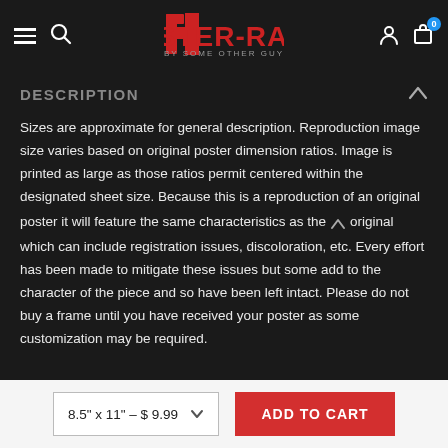Poster-Rama — navigation bar with hamburger menu, search, logo, account, and cart (0)
DESCRIPTION
Sizes are approximate for general description. Reproduction image size varies based on original poster dimension ratios. Image is printed as large as those ratios permit centered within the designated sheet size. Because this is a reproduction of an original poster it will feature the same characteristics as the original which can include registration issues, discoloration, etc. Every effort has been made to mitigate these issues but some add to the character of the piece and so have been left intact. Please do not buy a frame until you have received your poster as some customization may be required.
8.5" x 11" - $ 9.99
ADD TO CART